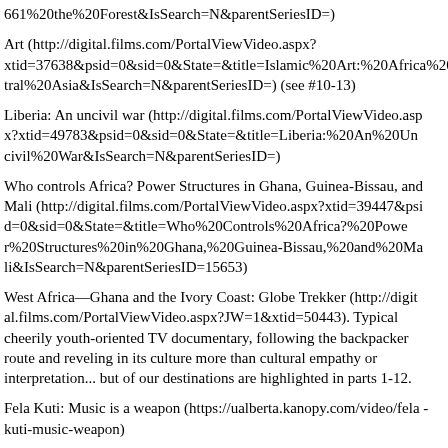661%20the%20Forest&IsSearch=N&parentSeriesID=)
Art (http://digital.films.com/PortalViewVideo.aspx?xtid=37638&psid=0&sid=0&State=&title=Islamic%20Art:%20Africa%20and%20Central%20Asia&IsSearch=N&parentSeriesID=) (see #10-13)
Liberia: An uncivil war (http://digital.films.com/PortalViewVideo.aspx?xtid=49783&psid=0&sid=0&State=&title=Liberia:%20An%20Uncivil%20War&IsSearch=N&parentSeriesID=)
Who controls Africa? Power Structures in Ghana, Guinea-Bissau, and Mali (http://digital.films.com/PortalViewVideo.aspx?xtid=39447&psid=0&sid=0&State=&title=Who%20Controls%20Africa?%20Power%20Structures%20in%20Ghana,%20Guinea-Bissau,%20and%20Mali&IsSearch=N&parentSeriesID=15653)
West Africa—Ghana and the Ivory Coast: Globe Trekker (http://digital.films.com/PortalViewVideo.aspx?JW=1&xtid=50443). Typical cheerily youth-oriented TV documentary, following the backpacker route and reveling in its culture more than cultural empathy or interpretation... but of our destinations are highlighted in parts 1-12.
Fela Kuti: Music is a weapon (https://ualberta.kanopy.com/video/fela-kuti-music-weapon)